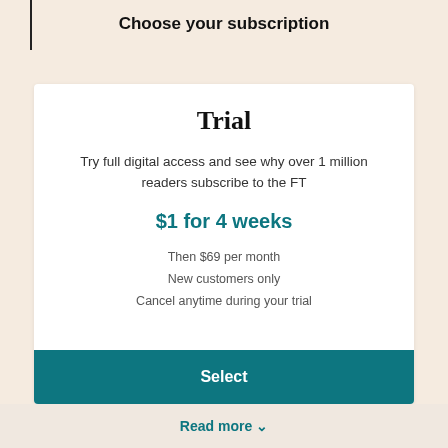Choose your subscription
Trial
Try full digital access and see why over 1 million readers subscribe to the FT
$1 for 4 weeks
Then $69 per month
New customers only
Cancel anytime during your trial
Select
Read more